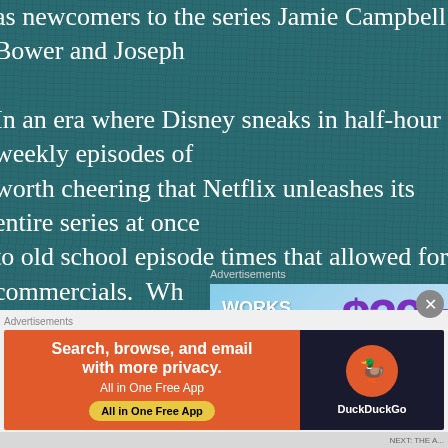as newcomers to the series Jamie Campbell Bower and Joseph [continues off-page]

In an era where Disney sneaks in half-hour weekly episodes of [continues] worth cheering that Netflix unleashes its entire series at once [continues] to old school episode times that allowed for commercials. Wh[continues] Things should remind everyone why Netflix is still the best thi[continues] streaming. Stranger Things is streaming now on Netflix, with t[continues] Season 4 available now, and the next two episodes available Ju[continues]
[Figure (other): Advertisement banner showing 'WORKS ON THE APP TOO!' with price $39.99 a year or $4.99 in blue gradient background]
[Figure (other): DuckDuckGo advertisement: 'Search, browse, and email with more privacy. All in One Free App' on orange background with DuckDuckGo logo on dark background]